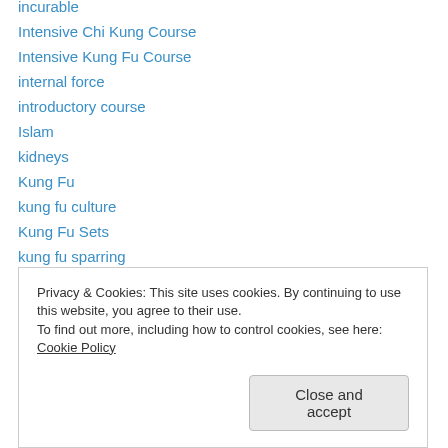incurable
Intensive Chi Kung Course
Intensive Kung Fu Course
internal force
introductory course
Islam
kidneys
Kung Fu
kung fu culture
Kung Fu Sets
kung fu sparring
Kung Fu Weapons
Lai Chin Wah
legends
motor neuron diseases
Privacy & Cookies: This site uses cookies. By continuing to use this website, you agree to their use. To find out more, including how to control cookies, see here: Cookie Policy
Close and accept